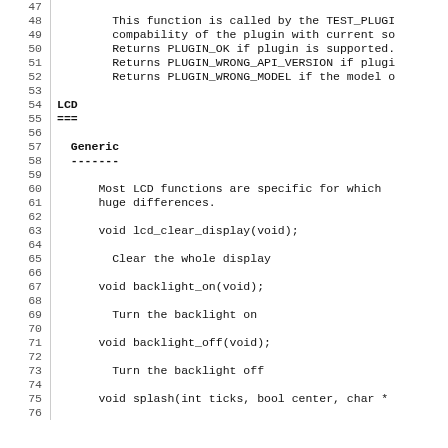47-76: Source code documentation for plugin and LCD functions
LCD
===
Generic
-------
Most LCD functions are specific for which... huge differences.
void lcd_clear_display(void);
  Clear the whole display
void backlight_on(void);
  Turn the backlight on
void backlight_off(void);
  Turn the backlight off
void splash(int ticks, bool center, char *...